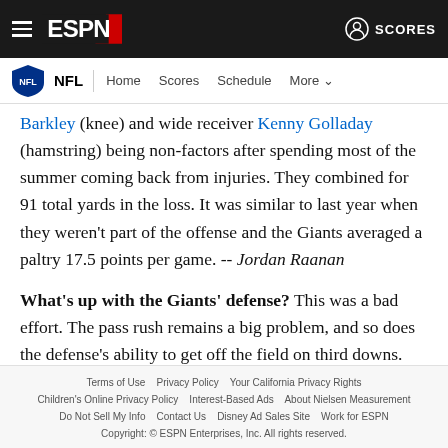ESPN — NFL | Home Scores Schedule More
Barkley (knee) and wide receiver Kenny Golladay (hamstring) being non-factors after spending most of the summer coming back from injuries. They combined for 91 total yards in the loss. It was similar to last year when they weren't part of the offense and the Giants averaged a paltry 17.5 points per game. -- Jordan Raanan
What's up with the Giants' defense? This was a bad effort. The pass rush remains a big problem, and so does the defense's ability to get off the field on third downs. Denver converted on
Terms of Use  Privacy Policy  Your California Privacy Rights  Children's Online Privacy Policy  Interest-Based Ads  About Nielsen Measurement  Do Not Sell My Info  Contact Us  Disney Ad Sales Site  Work for ESPN  Copyright: © ESPN Enterprises, Inc. All rights reserved.